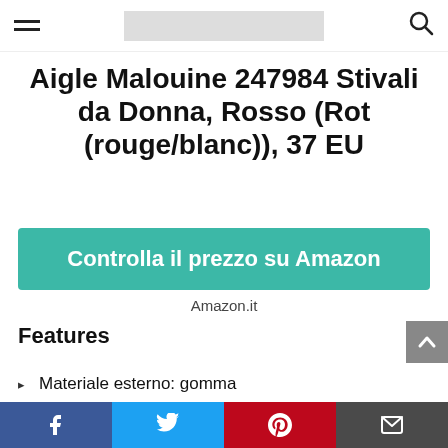Aigle Malouine 247984 Stivali da Donna, Rosso (Rot (rouge/blanc)), 37 EU
Aigle Malouine 247984 Stivali da Donna, Rosso (Rot (rouge/blanc)), 37 EU
Controlla il prezzo su Amazon
Amazon.it
Features
Materiale esterno: gomma
Materiale suola: gomma
Fodera: sintetico
Facebook | Twitter | Pinterest | Email